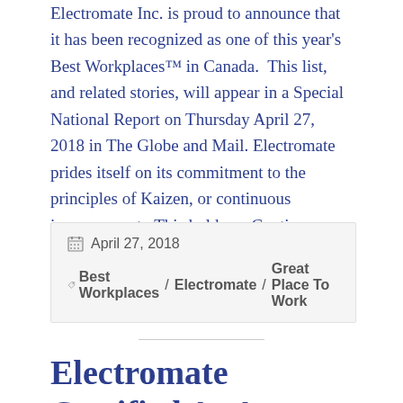Electromate Inc. is proud to announce that it has been recognized as one of this year's Best Workplaces™ in Canada.  This list, and related stories, will appear in a Special National Report on Thursday April 27, 2018 in The Globe and Mail. Electromate prides itself on its commitment to the principles of Kaizen, or continuous improvement.  This holds … Continue reading →
April 27, 2018
Best Workplaces / Electromate / Great Place To Work
Electromate Certified As A Great Workplace